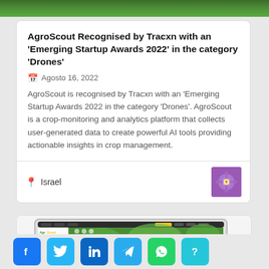[Figure (photo): Green foliage/nature image at top of page]
AgroScout Recognised by Tracxn with an 'Emerging Startup Awards 2022' in the category 'Drones'
Agosto 16, 2022
AgroScout is recognised by Tracxn with an 'Emerging Startup Awards 2022 in the category 'Drones'. AgroScout is a crop-monitoring and analytics platform that collects user-generated data to create powerful AI tools providing actionable insights in crop management.
Israel
[Figure (photo): Purple flower close-up thumbnail]
[Figure (screenshot): AgroScout app screenshot shown on tablet device with green crop imagery]
[Figure (other): Social media sharing buttons: Facebook, Twitter, LinkedIn, Telegram, WhatsApp, and a question mark button]